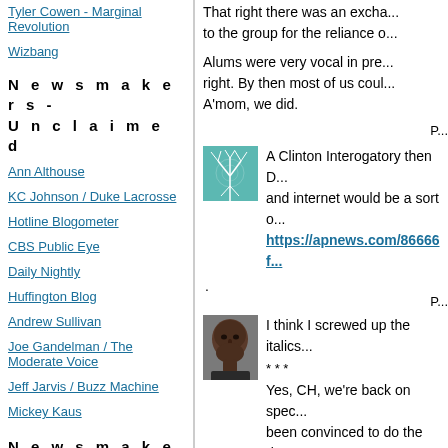Tyler Cowen - Marginal Revolution
Wizbang
N e w s m a k e r s  -  U n c l a i m e d
Ann Althouse
KC Johnson / Duke Lacrosse
Hotline Blogometer
CBS Public Eye
Daily Nightly
Huffington Blog
Andrew Sullivan
Joe Gandelman / The Moderate Voice
Jeff Jarvis / Buzz Machine
Mickey Kaus
N e w s m a k e r s  -  L e f t
Blog For America (And Dean)
That right there was an exchange to the group for the reliance o...
Alums were very vocal in pre right. By then most of us coul A'mom, we did.
P...
[Figure (photo): Teal/cyan abstract tree or neural pattern avatar image]
A Clinton Interogatory then D and internet would be a sort o...
https://apnews.com/86666f...
.
P...
[Figure (photo): Photo of a bald Black man, close-up portrait]
I think I screwed up the italics...
* * *
Yes, CH, we're back on spec been convinced to do the rig visit as part of the PSYOPs, a reward he may he able to kee...